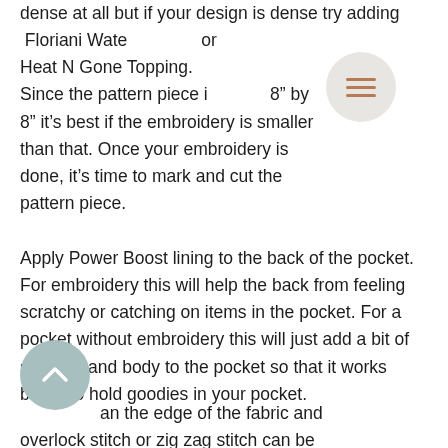dense at all but if your design is dense try adding  Floriani Water Soluble or Heat N Gone Topping. Since the pattern piece is about 8" by 8" it's best if the embroidery is smaller than that. Once your embroidery is done, it's time to mark and cut the pattern piece.
Apply Power Boost lining to the back of the pocket. For embroidery this will help the back from feeling scratchy or catching on items in the pocket. For a pocket without embroidery this will just add a bit of strength and body to the pocket so that it works better to hold goodies in your pocket.
an the edge of the fabric and overlock stitch or zig zag stitch can be